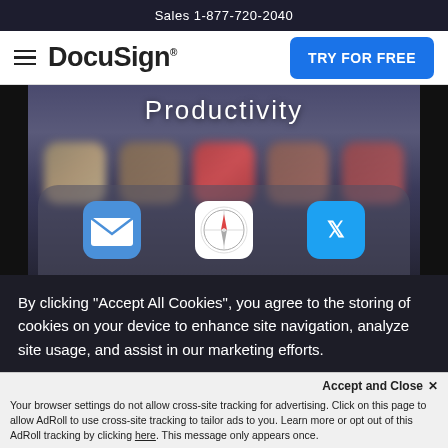Sales 1-877-720-2040
[Figure (screenshot): DocuSign website navigation bar with hamburger menu, DocuSign logo, and blue 'TRY FOR FREE' button]
[Figure (photo): Blurred iPhone screen showing 'Productivity' text at top, colorful blurred app icons, and dock with Mail, Safari, and Twitter icons]
By clicking “Accept All Cookies”, you agree to the storing of cookies on your device to enhance site navigation, analyze site usage, and assist in our marketing efforts.
Accept and Close ×
Your browser settings do not allow cross-site tracking for advertising. Click on this page to allow AdRoll to use cross-site tracking to tailor ads to you. Learn more or opt out of this AdRoll tracking by clicking here. This message only appears once.